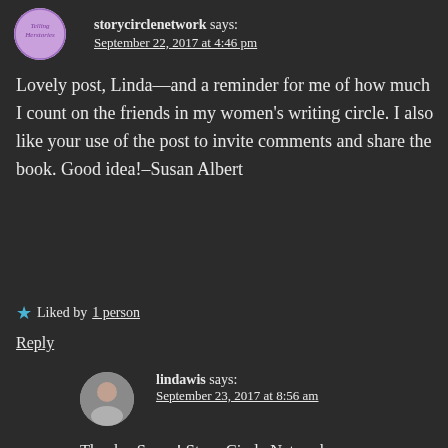storycirclenetwork says:
September 22, 2017 at 4:46 pm
Lovely post, Linda—and a reminder for me of how much I count on the friends in my women's writing circle. I also like your use of the post to invite comments and share the book. Good idea!–Susan Albert
Liked by 1 person
Reply
lindawis says:
September 23, 2017 at 8:56 am
Thanks, Susan! Story Circle Network (www.storycircle.org) is a great support system for women writers.